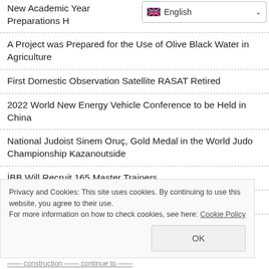New Academic Year Preparations H…
[Figure (screenshot): Language selector dropdown showing English with flag icon and dropdown arrow]
A Project was Prepared for the Use of Olive Black Water in Agriculture
First Domestic Observation Satellite RASAT Retired
2022 World New Energy Vehicle Conference to be Held in China
National Judoist Sinem Oruç, Gold Medal in the World Judo Championship Kazanoutside
İBB Will Recruit 165 Master Trainers
TEKNOFEST Excitement Reached the Peak in Samsun
Privacy and Cookies: This site uses cookies. By continuing to use this website, you agree to their use.
For more information on how to check cookies, see here: Cookie Policy
OK